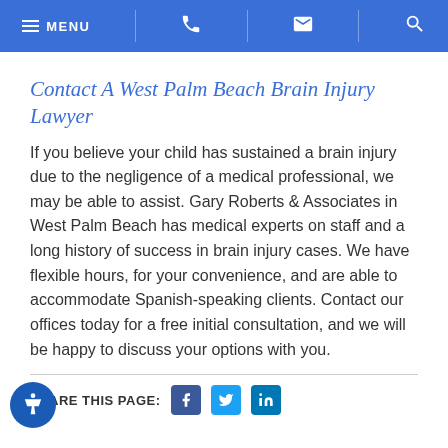MENU [phone] [email] [search]
Contact A West Palm Beach Brain Injury Lawyer
If you believe your child has sustained a brain injury due to the negligence of a medical professional, we may be able to assist. Gary Roberts & Associates in West Palm Beach has medical experts on staff and a long history of success in brain injury cases. We have flexible hours, for your convenience, and are able to accommodate Spanish-speaking clients. Contact our offices today for a free initial consultation, and we will be happy to discuss your options with you.
SHARE THIS PAGE: